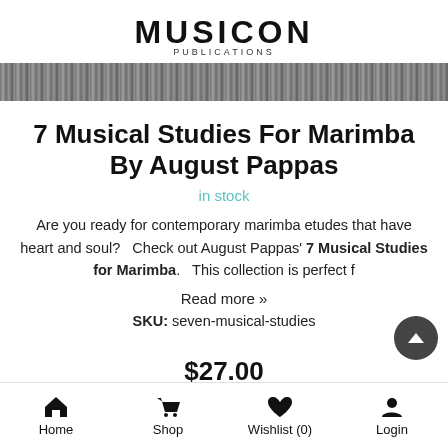MUSICON PUBLICATIONS
[Figure (photo): Decorative banner image with dark textured/rocky background]
7 Musical Studies For Marimba By August Pappas
in stock
Are you ready for contemporary marimba etudes that have heart and soul?   Check out August Pappas' 7 Musical Studies for Marimba.   This collection is perfect f
Read more »
SKU: seven-musical-studies
Home   Shop   Wishlist (0)   Login